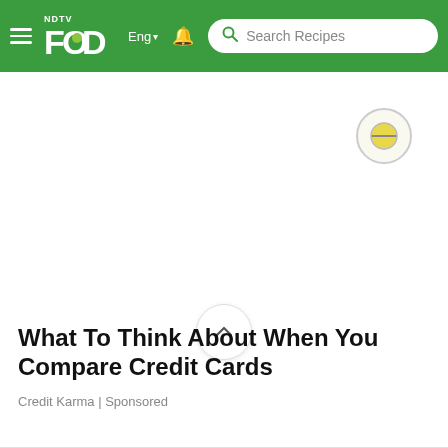NDTV Food — Eng | Search Recipes navbar
[Figure (screenshot): NDTV Food green navigation bar with hamburger menu, NDTV Food logo, Eng language selector, bell notification icon, and Search Recipes search bar]
What To Think About When You Compare Credit Cards
Credit Karma | Sponsored